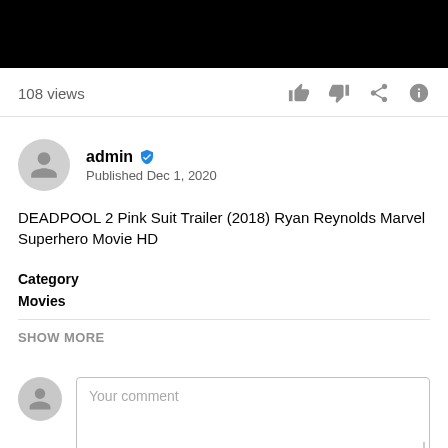[Figure (screenshot): Black video player bar at top of page]
108 views
admin · Published Dec 1, 2020
DEADPOOL 2 Pink Suit Trailer (2018) Ryan Reynolds Marvel Superhero Movie HD
Category
Movies
SHOW MORE
Your comment